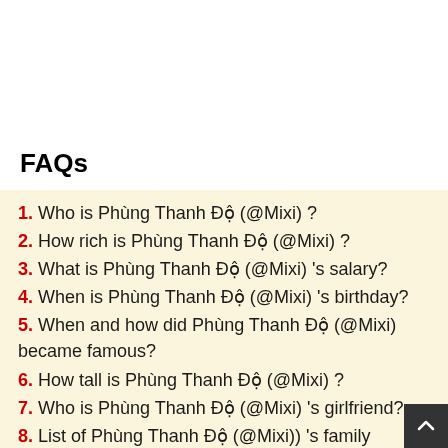FAQs
1. Who is Phùng Thanh Độ (@Mixi) ?
2. How rich is Phùng Thanh Độ (@Mixi) ?
3. What is Phùng Thanh Độ (@Mixi) 's salary?
4. When is Phùng Thanh Độ (@Mixi) 's birthday?
5. When and how did Phùng Thanh Độ (@Mixi) became famous?
6. How tall is Phùng Thanh Độ (@Mixi) ?
7. Who is Phùng Thanh Độ (@Mixi) 's girlfriend?
8. List of Phùng Thanh Độ (@Mixi)) 's family members?